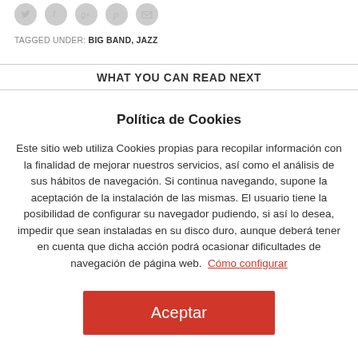[Figure (other): Social media share icons: Twitter, Facebook, Google+, Pinterest, Email — rendered as gray circles with white symbols]
TAGGED UNDER: BIG BAND, JAZZ
WHAT YOU CAN READ NEXT
Política de Cookies
Este sitio web utiliza Cookies propias para recopilar información con la finalidad de mejorar nuestros servicios, así como el análisis de sus hábitos de navegación. Si continua navegando, supone la aceptación de la instalación de las mismas. El usuario tiene la posibilidad de configurar su navegador pudiendo, si así lo desea, impedir que sean instaladas en su disco duro, aunque deberá tener en cuenta que dicha acción podrá ocasionar dificultades de navegación de página web.  Cómo configurar
Aceptar